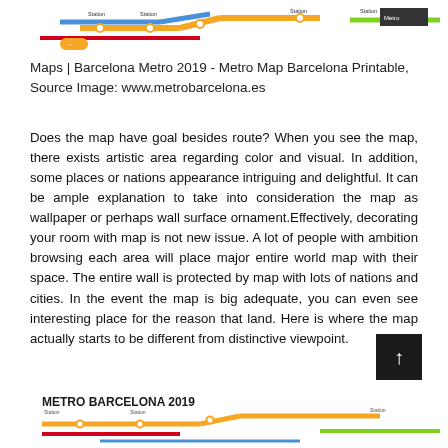[Figure (map): Partial view of Barcelona Metro 2019 map showing colored transit lines and station labels]
Maps | Barcelona Metro 2019 - Metro Map Barcelona Printable, Source Image: www.metrobarcelona.es
Does the map have goal besides route? When you see the map, there exists artistic area regarding color and visual. In addition, some places or nations appearance intriguing and delightful. It can be ample explanation to take into consideration the map as wallpaper or perhaps wall surface ornament.Effectively, decorating your room with map is not new issue. A lot of people with ambition browsing each area will place major entire world map with their space. The entire wall is protected by map with lots of nations and cities. In the event the map is big adequate, you can even see interesting place for the reason that land. Here is where the map actually starts to be different from distinctive viewpoint.
[Figure (map): Partial view of Barcelona Metro 2019 map at the bottom, showing colored transit lines and the METRO BARCELONA 2019 title]